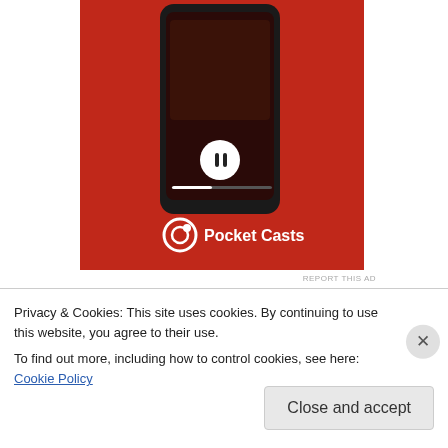[Figure (photo): Pocket Casts app advertisement showing a red smartphone with the app open, on a red background with Pocket Casts logo and name]
REPORT THIS AD
stockdalewolfe on 01/03/2017 at 17:43
👍 2 👎 0 ℹ Rate This
Thank you so very much for visiting my blog and so many likes. I am visiting yourso now and very
Privacy & Cookies: This site uses cookies. By continuing to use this website, you agree to their use.
To find out more, including how to control cookies, see here: Cookie Policy